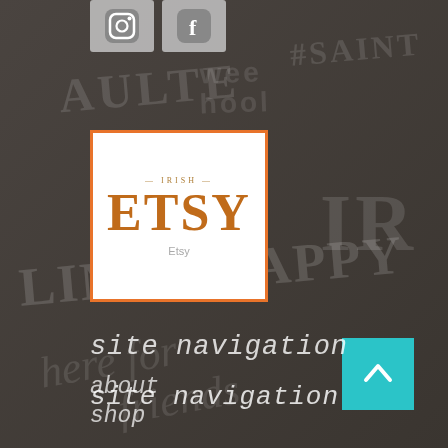[Figure (screenshot): Dark background with t-shirt/fabric text art showing words like LIMIT HAPPY, IR, wee hool, here for friends, etc.]
[Figure (logo): Instagram icon button, light grey square]
[Figure (logo): Facebook icon button, light grey square]
[Figure (logo): Etsy logo in orange border white box with text ETSY and subtitle Etsy]
site navigation
about
shop
gallery
journal
contact
[Figure (logo): Facebook icon (white f on dark background)]
[Figure (other): Cyan/teal scroll-to-top button with upward chevron arrow]